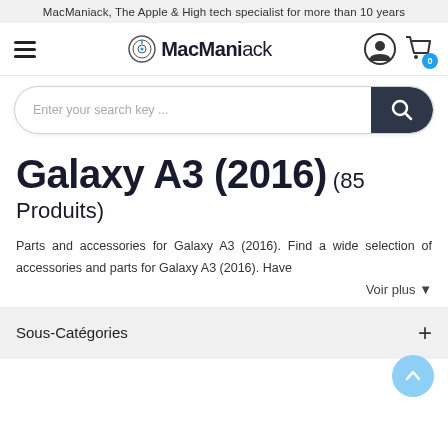MacManiack, The Apple & High tech specialist for more than 10 years
[Figure (logo): MacManiack logo with hamburger menu, circular logo icon, bold text MacManiack, user icon, and shopping cart icon with badge 0]
[Figure (screenshot): Search bar with placeholder text 'Enter your search key ...' and dark search button with magnifying glass icon]
Galaxy A3 (2016) (85 Produits)
Parts and accessories for Galaxy A3 (2016). Find a wide selection of accessories and parts for Galaxy A3 (2016). Have
Voir plus
Sous-Catégories